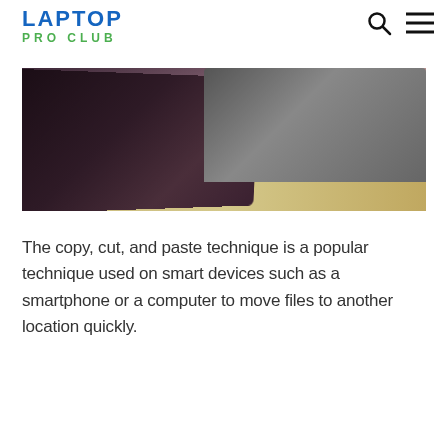LAPTOP PRO CLUB
[Figure (photo): A tablet device lying flat on a wooden desk surface next to a laptop, shot from above at an angle.]
The copy, cut, and paste technique is a popular technique used on smart devices such as a smartphone or a computer to move files to another location quickly.